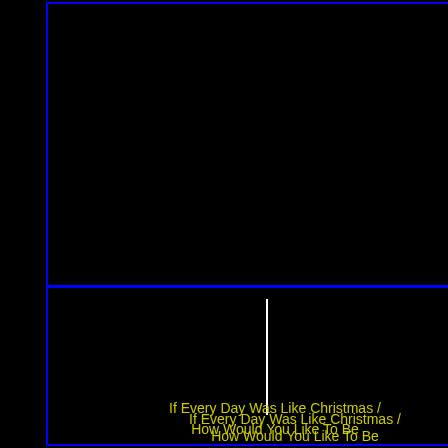[Figure (other): Black rectangle with blue border, top-left area]
[Figure (other): Black rectangle with blue border, bottom-left area, containing a white vertical line]
If Every Day Was Like Christmas / How Would You Like To Be